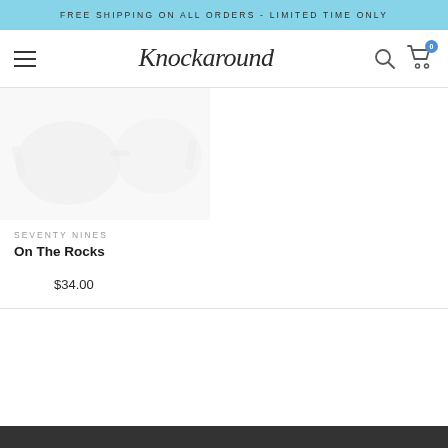FREE SHIPPING ON ALL ORDERS - LIMITED TIME ONLY
[Figure (logo): Knockaround cursive script logo with hamburger menu, search icon, and cart icon with badge showing 0]
[Figure (photo): Partial product image of sunglasses in light grey/white tones, cropped at top]
SEVENTY NINES
On The Rocks
$34.00